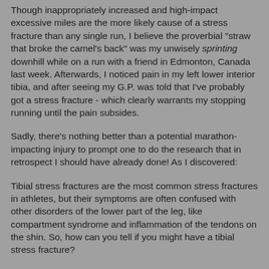Though inappropriately increased and high-impact excessive miles are the more likely cause of a stress fracture than any single run, I believe the proverbial "straw that broke the camel's back" was my unwisely sprinting downhill while on a run with a friend in Edmonton, Canada last week. Afterwards, I noticed pain in my left lower interior tibia, and after seeing my G.P. was told that I've probably got a stress fracture - which clearly warrants my stopping running until the pain subsides.
Sadly, there's nothing better than a potential marathon-impacting injury to prompt one to do the research that in retrospect I should have already done! As I discovered:
Tibial stress fractures are the most common stress fractures in athletes, but their symptoms are often confused with other disorders of the lower part of the leg, like compartment syndrome and inflammation of the tendons on the shin. So, how can you tell if you might have a tibial stress fracture?
Unfortunately, as was my case routine X-rays often fail to detect stress-fractures for several weeks following the initial fracture.